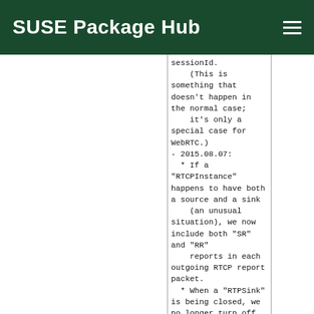SUSE Package Hub
sessionId.
    (This is something that doesn't happen in the normal case;
    it's only a special case for WebRTC.)
- 2015.08.07:
  * If a "RTCPInstance" happens to have both a source and a sink
    (an unusual situation), we now include both "SR" and "RR"
    reports in each outgoing RTCP report packet.
  * When a "RTPSink" is being closed, we no longer turn off
    background reading on its 'groupsock' (because, being a
    "RTPSink", we never turned it on), just in case the
    'groupsock' is also being shared with something else
    (e.g., a "RTPSource") that does background read handling).
- 2015.08.06:
  * Fixed a bug that would cause the destruction of a